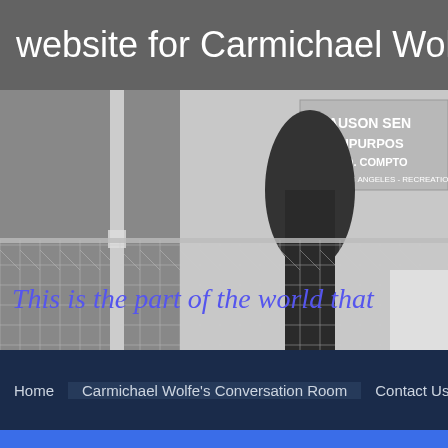website for Carmichael Wolfe "The E..."
[Figure (photo): Black and white photograph of a chain-link fence with a tree, and a sign reading 'SLAUSON SENIOR MULTIPURPOSE 5308 SO. COMPTON CITY OF LOS ANGELES - RECREATION &'. Overlaid italic blue text reads 'This is the part of the world that...']
Home | Carmichael Wolfe's Conversation Room | Contact Us
POWERED BY weebly